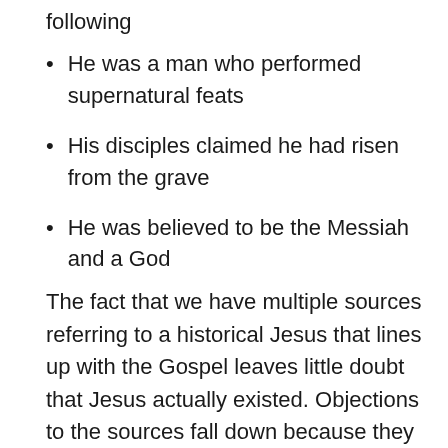following
He was a man who performed supernatural feats
His disciples claimed he had risen from the grave
He was believed to be the Messiah and a God
The fact that we have multiple sources referring to a historical Jesus that lines up with the Gospel leaves little doubt that Jesus actually existed. Objections to the sources fall down because they take things out of context and dismiss content out of hand without proper research.